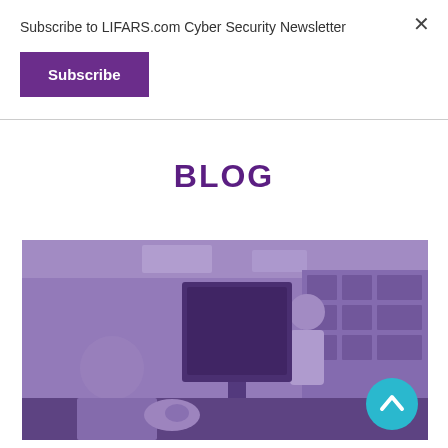Subscribe to LIFARS.com Cyber Security Newsletter
Subscribe
BLOG
[Figure (photo): Purple-tinted photo of an office or classroom setting with people working at computer monitors and screens visible in the background. A person is using a mouse in the foreground, and another person is visible in the background near display screens.]